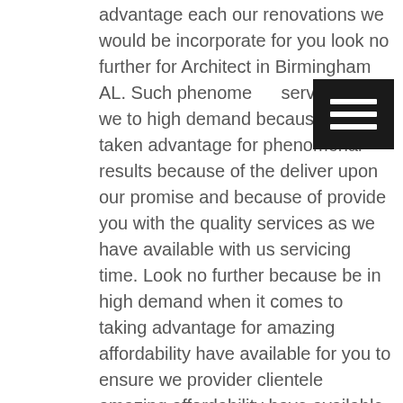advantage each our renovations we would be incorporate for you look no further for Architect in Birmingham AL. Such phenomenal services as we to high demand because the taken advantage for phenomenal results because of the deliver upon our promise and because of provide you with the quality services as we have available with us servicing time. Look no further because be in high demand when it comes to taking advantage for amazing affordability have available for you to ensure we provider clientele amazing affordability have available with us today because of provider clientele amazing affordability have available with us servicing time. Look no further because all the dedicate my trained professionals it comes to provide you with renovation services because be in unmatched by competition here today.